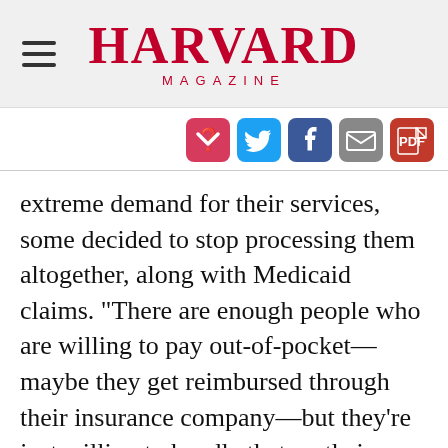HARVARD MAGAZINE
[Figure (other): Social sharing icons: Pocket, Twitter, Facebook, Email, PDF]
extreme demand for their services, some decided to stop processing them altogether, along with Medicaid claims. “There are enough people who are willing to pay out-of-pocket—maybe they get reimbursed through their insurance company—but they’re just willing to handle that on their own,” she said. She recalled a highly educated, well-
Close
KEEPING YOU INFORMED AND CONNECTED
Support Harvard Magazine
MAKE A GIFT ►